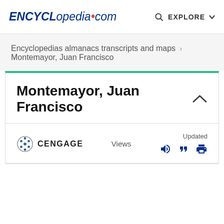ENCYCLopedia.com  EXPLORE
Encyclopedias almanacs transcripts and maps > Montemayor, Juan Francisco
Montemayor, Juan Francisco
CENGAGE   Views   Updated